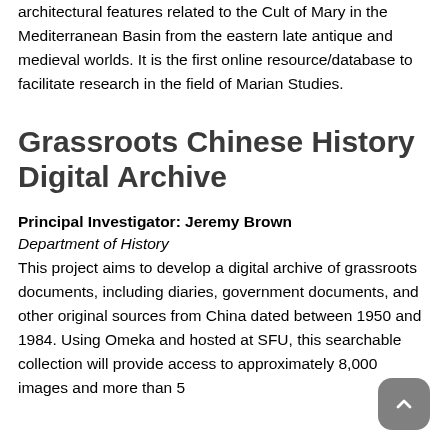architectural features related to the Cult of Mary in the Mediterranean Basin from the eastern late antique and medieval worlds. It is the first online resource/database to facilitate research in the field of Marian Studies.
Grassroots Chinese History Digital Archive
Principal Investigator: Jeremy Brown
Department of History
This project aims to develop a digital archive of grassroots documents, including diaries, government documents, and other original sources from China dated between 1950 and 1984. Using Omeka and hosted at SFU, this searchable collection will provide access to approximately 8,000 images and more than 5...